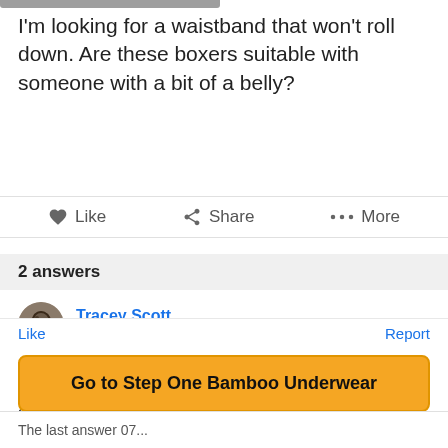I'm looking for a waistband that won't roll down. Are these boxers suitable with someone with a bit of a belly?
[Figure (screenshot): Action bar with Like, Share, and More buttons]
2 answers
Tracey Scott
4 months ago
Yes most definitely! I am a size 14, I wear the large, the waistband is a good strong but soft and comfortable construction. I am able to exercise in mine without the legs riding up. I'm extremely hap...
Read more
Like   Report
Go to Step One Bamboo Underwear
The last answer 07...